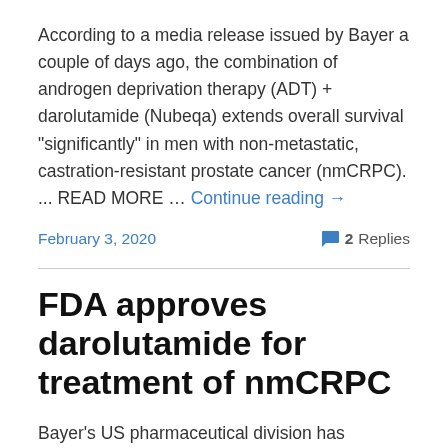According to a media release issued by Bayer a couple of days ago, the combination of androgen deprivation therapy (ADT) + darolutamide (Nubeqa) extends overall survival "significantly" in men with non-metastatic, castration-resistant prostate cancer (nmCRPC). ... READ MORE … Continue reading →
February 3, 2020
2 Replies
FDA approves darolutamide for treatment of nmCRPC
Bayer's US pharmaceutical division has announced that the US Food and Drug Administration (FDA) has approved darolutamide -- their formerly investigational androgen receptor inhibitor for the treatment of men with...